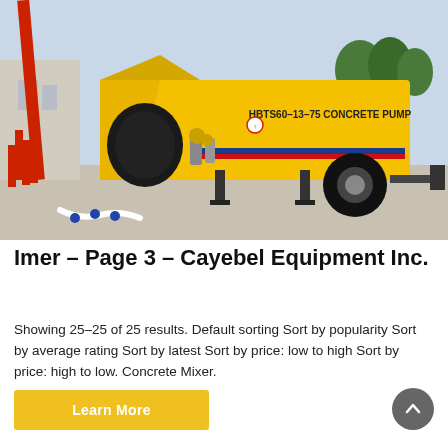[Figure (photo): Yellow HBTS60-13-75 Concrete Pump on a trailer/cart, parked on a concrete surface outdoors. Red crane/equipment visible in the background on the left. Text on the pump reads 'HBTS60-13-75 CONCRETE PUMP'.]
Imer – Page 3 – Cayebel Equipment Inc.
Showing 25–25 of 25 results. Default sorting Sort by popularity Sort by average rating Sort by latest Sort by price: low to high Sort by price: high to low. Concrete Mixer.
Learn More